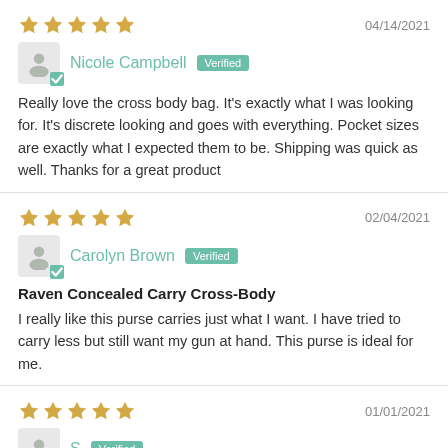★★★★★   04/14/2021
Nicole Campbell  Verified
Really love the cross body bag. It's exactly what I was looking for. It's discrete looking and goes with everything. Pocket sizes are exactly what I expected them to be. Shipping was quick as well. Thanks for a great product
★★★★★   02/04/2021
Carolyn Brown  Verified
Raven Concealed Carry Cross-Body
I really like this purse carries just what I want. I have tried to carry less but still want my gun at hand. This purse is ideal for me.
★★★★★   01/01/2021